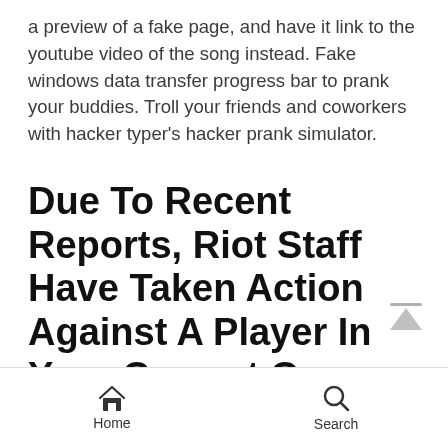a preview of a fake page, and have it link to the youtube video of the song instead. Fake windows data transfer progress bar to prank your buddies. Troll your friends and coworkers with hacker typer's hacker prank simulator.
Due To Recent Reports, Riot Staff Have Taken Action Against A Player In Your Current Game.
Home  Search